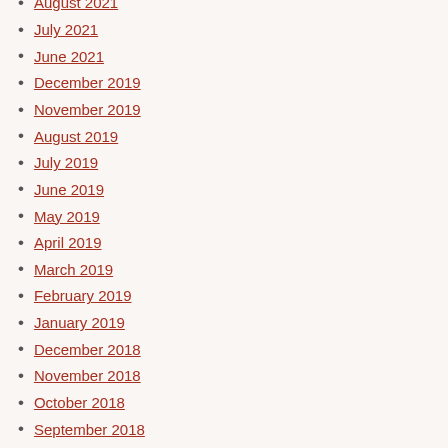August 2021
July 2021
June 2021
December 2019
November 2019
August 2019
July 2019
June 2019
May 2019
April 2019
March 2019
February 2019
January 2019
December 2018
November 2018
October 2018
September 2018
August 2018
July 2018
June 2018
May 2018
April 2018
March 2018
February 2018
January 2018
December 2017